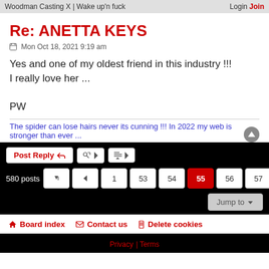Woodman Casting X | Wake up'n fuck   Login  Join
Re: ANETTA KEYS
Mon Oct 18, 2021 9:19 am
Yes and one of my oldest friend in this industry !!!
I really love her ...

PW
The spider can lose hairs never its cunning !!! In 2022 my web is stronger than ever ...
Post Reply  [tool icons]  580 posts  1 ... 53 54 55 56 57 58 >  Jump to
Board index   Contact us   Delete cookies
Privacy | Terms